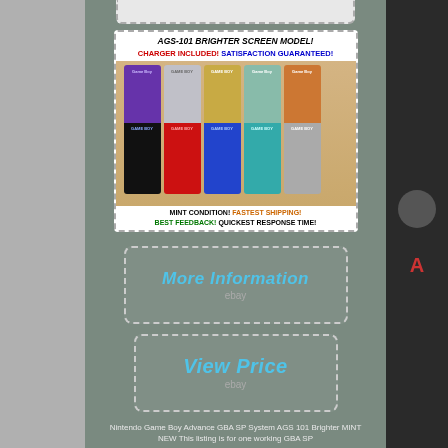[Figure (photo): Nintendo Game Boy Advance SP systems in multiple colors displayed in two rows, with text overlay: AGS-101 BRIGHTER SCREEN MODEL! CHARGER INCLUDED! SATISFACTION GUARANTEED! MINT CONDITION! FASTEST SHIPPING! BEST FEEDBACK! QUICKEST RESPONSE TIME!]
[Figure (other): More Information button with eBay logo, dashed border]
[Figure (other): View Price button with eBay logo, dashed border]
Nintendo Game Boy Advance GBA SP System AGS 101 Brighter MINT NEW This listing is for one working GBA SP